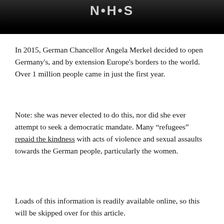[Figure (photo): Dark/black image at the top of the page, partially showing what appears to be a person or persons, with white text overlay partially visible.]
In 2015, German Chancellor Angela Merkel decided to open Germany's, and by extension Europe's borders to the world. Over 1 million people came in just the first year.
Note: she was never elected to do this, nor did she ever attempt to seek a democratic mandate. Many “refugees” repaid the kindness with acts of violence and sexual assaults towards the German people, particularly the women.
Loads of this information is readily available online, so this will be skipped over for this article.